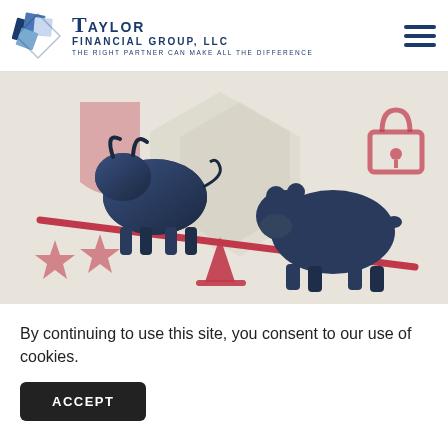[Figure (logo): Taylor Financial Group LLC logo with diamond/cross geometric shapes in blue and white and company name]
[Figure (illustration): Bull and bear figurines balanced on a seesaw/scale, set against a background with shield, stars, and lock icons in crimson pink on beige]
By continuing to use this site, you consent to our use of cookies.
ACCEPT